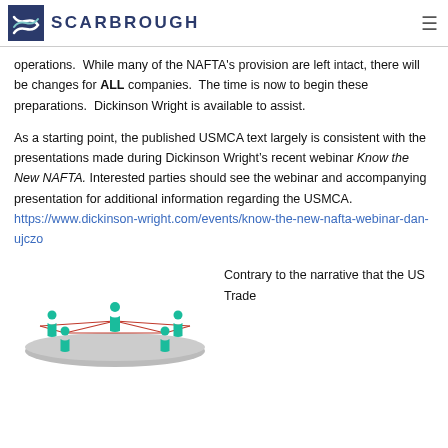SCARBROUGH
operations. While many of the NAFTA's provision are left intact, there will be changes for ALL companies. The time is now to begin these preparations. Dickinson Wright is available to assist.
As a starting point, the published USMCA text largely is consistent with the presentations made during Dickinson Wright’s recent webinar Know the New NAFTA. Interested parties should see the webinar and accompanying presentation for additional information regarding the USMCA. https://www.dickinson-wright.com/events/know-the-new-nafta-webinar-dan-ujczo
[Figure (illustration): Network diagram showing teal-colored human figure icons connected by red lines on a grey platform, illustrating international trade connections.]
Contrary to the narrative that the US Trade